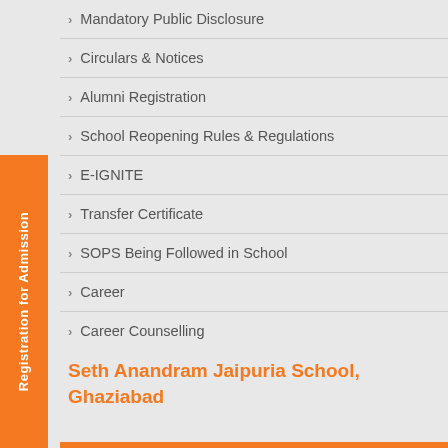Mandatory Public Disclosure
Circulars & Notices
Alumni Registration
School Reopening Rules & Regulations
E-IGNITE
Transfer Certificate
SOPS Being Followed in School
Career
Career Counselling
Pay Fee Online
Seth Anandram Jaipuria School, Ghaziabad